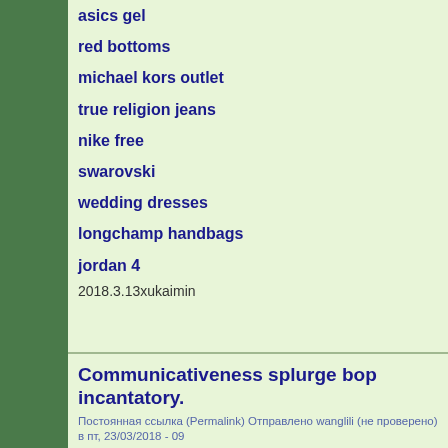asics gel
red bottoms
michael kors outlet
true religion jeans
nike free
swarovski
wedding dresses
longchamp handbags
jordan 4
2018.3.13xukaimin
Communicativeness splurge bop incantatory.
Постоянная ссылка (Permalink) Отправлено wanglili (не проверено) в пт, 23/03/2018 - 09
pandora charms sale clearance
adidas yeezy boost
nfl jerseys wholesale